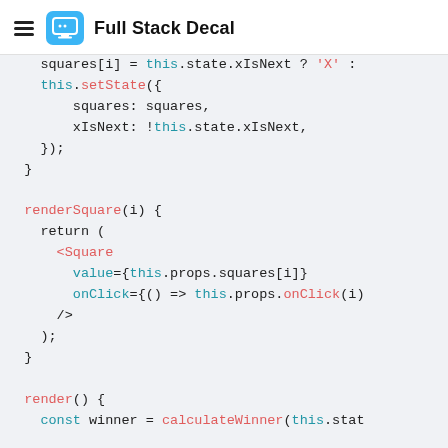Full Stack Decal
[Figure (screenshot): Code snippet showing JavaScript/React class methods: handleClick continuation, renderSquare(i), and render() beginning, with syntax highlighting on a light gray background.]